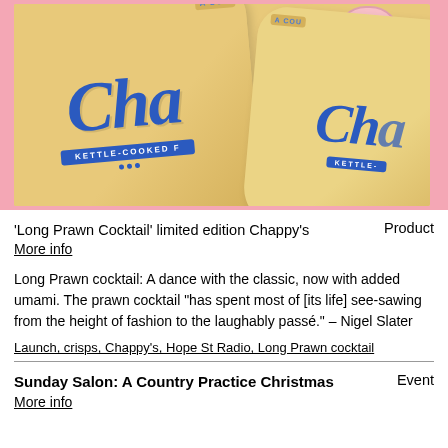[Figure (photo): Yellow Chappy's kettle-cooked crisp bags on a pink background, showing the brand name 'Cha' in blue italic script with 'KETTLE-COOKED' band]
'Long Prawn Cocktail' limited edition Chappy's     Product
More info
Long Prawn cocktail: A dance with the classic, now with added umami. The prawn cocktail "has spent most of [its life] see-sawing from the height of fashion to the laughably passé." – Nigel Slater
Launch, crisps, Chappy's, Hope St Radio, Long Prawn cocktail
Sunday Salon: A Country Practice Christmas     Event
More info